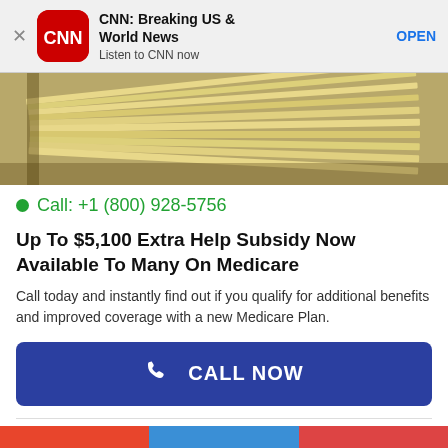[Figure (screenshot): CNN app banner with red CNN logo icon, bold title 'CNN: Breaking US & World News', subtitle 'Listen to CNN now', and blue OPEN button]
[Figure (photo): Close-up photo of stacked papers or documents with yellowish color, fanned out diagonally]
Call: +1 (800) 928-5756
Up To $5,100 Extra Help Subsidy Now Available To Many On Medicare
Call today and instantly find out if you qualify for additional benefits and improved coverage with a new Medicare Plan.
[Figure (other): Blue 'CALL NOW' button with white phone icon on the left]